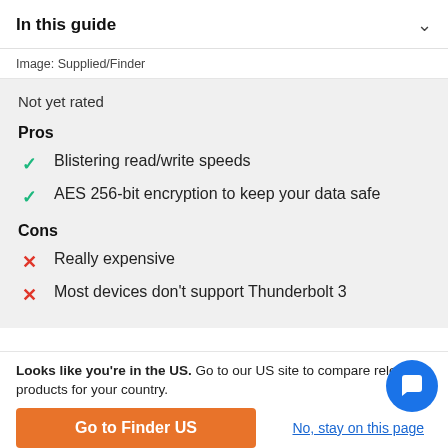In this guide
Image: Supplied/Finder
Not yet rated
Pros
Blistering read/write speeds
AES 256-bit encryption to keep your data safe
Cons
Really expensive
Most devices don't support Thunderbolt 3
Looks like you're in the US. Go to our US site to compare relevant products for your country.
Go to Finder US
No, stay on this page